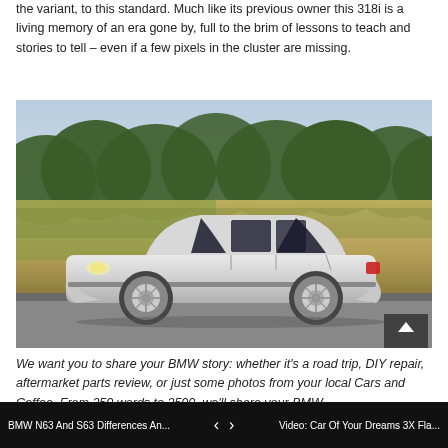the variant, to this standard. Much like its previous owner this 318i is a living memory of an era gone by, full to the brim of lessons to teach and stories to tell – even if a few pixels in the cluster are missing.
[Figure (photo): Silver BMW 3 Series (E36) sedan parked on a road in front of tall green and golden grass, photographed from the side.]
We want you to share your BMW story: whether it's a road trip, DIY repair, aftermarket parts review, or just some photos from your local Cars and Coffee. From 250 words to 2500, we'll share your BMW
BMW N63 And S63 Differences An...    < >    Video: Car Of Your Dreams 3X Fla...